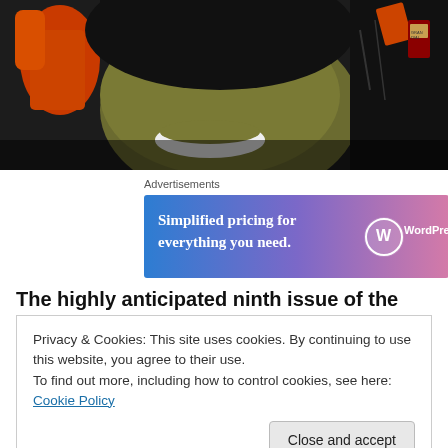[Figure (illustration): Comic book style illustration showing a face with olive/dark coloring, orange elements on the left side, and dark background. Horror/comic art style.]
Advertisements
[Figure (other): WordPress.com advertisement banner: 'Simplified pricing for everything you need.' with WordPress.com logo. Blue to pink gradient background.]
The highly anticipated ninth issue of the cult-hit horror
Privacy & Cookies: This site uses cookies. By continuing to use this website, you agree to their use.
To find out more, including how to control cookies, see here: Cookie Policy
Close and accept
AFTERLIFE WITH ARCHIE #9 which takes an in-depth